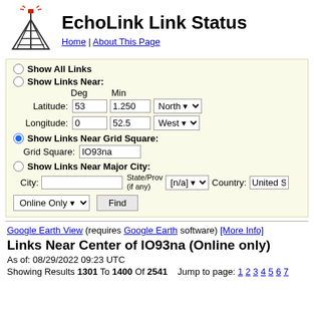EchoLink Link Status
Home | About This Page
Show All Links
Show Links Near:
Deg Min
Latitude: 53 1.250 North
Longitude: 0 52.5 West
Show Links Near Grid Square:
Grid Square: IO93na
Show Links Near Major City:
City: State/Prov (if any): [n/a] Country: United S
Google Earth View (requires Google Earth software) [More Info]
Links Near Center of IO93na (Online only)
As of: 08/29/2022 09:23 UTC
Showing Results 1301 To 1400 Of 2541   Jump to page: 1 2 3 4 5 6 7